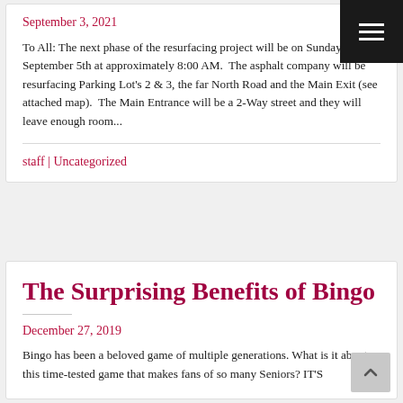September 3, 2021
To All: The next phase of the resurfacing project will be on Sunday, September 5th at approximately 8:00 AM.  The asphalt company will be resurfacing Parking Lot's 2 & 3, the far North Road and the Main Exit (see attached map).  The Main Entrance will be a 2-Way street and they will leave enough room...
staff | Uncategorized
The Surprising Benefits of Bingo
December 27, 2019
Bingo has been a beloved game of multiple generations. What is it about this time-tested game that makes fans of so many Seniors? IT'S